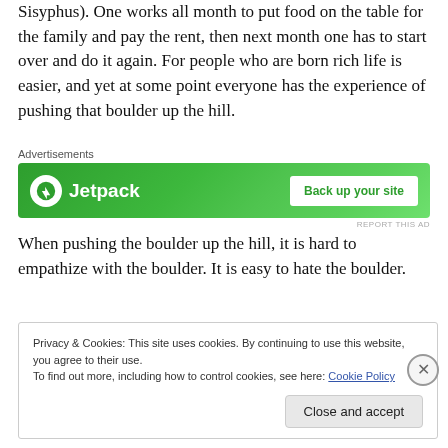Sisyphus). One works all month to put food on the table for the family and pay the rent, then next month one has to start over and do it again. For people who are born rich life is easier, and yet at some point everyone has the experience of pushing that boulder up the hill.
[Figure (screenshot): Jetpack advertisement banner with green background, Jetpack logo on left and 'Back up your site' button on right]
When pushing the boulder up the hill, it is hard to empathize with the boulder. It is easy to hate the boulder.
Privacy & Cookies: This site uses cookies. By continuing to use this website, you agree to their use.
To find out more, including how to control cookies, see here: Cookie Policy